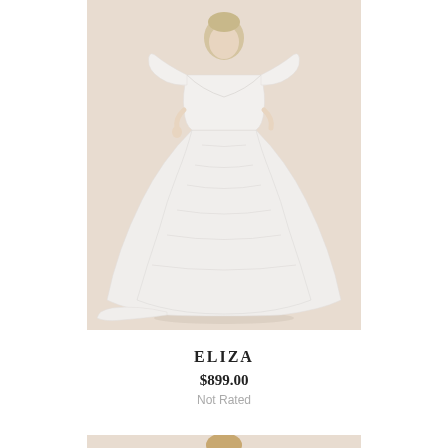[Figure (photo): A woman wearing a white lace wedding dress with flutter sleeves and a long flowing skirt, photographed against a beige background.]
ELIZA
$899.00
Not Rated
[Figure (photo): Partial view of a woman in a wedding dress, photographed against a beige background. Only the upper torso and head are visible at the bottom of the page.]